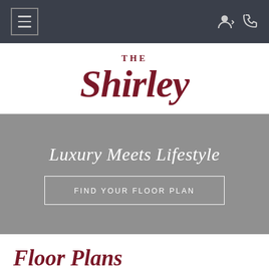Navigation bar with hamburger menu and user/phone icons
THE Shirley
[Figure (infographic): Gray hero banner with italic text 'Luxury Meets Lifestyle' and a white-bordered button 'FIND YOUR FLOOR PLAN']
Floor Plans